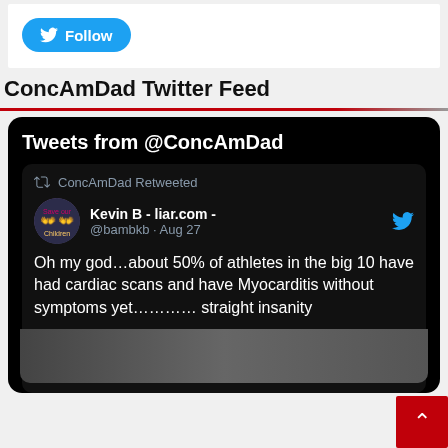[Figure (screenshot): Twitter Follow button (blue rounded rectangle with bird icon and 'Follow' text)]
ConcAmDad Twitter Feed
[Figure (screenshot): Embedded Twitter feed widget showing 'Tweets from @ConcAmDad'. Contains a retweeted tweet by Kevin B - liar.com - (@bambkb, Aug 27) reading: Oh my god…about 50% of athletes in the big 10 have had cardiac scans and have Myocarditis without symptoms yet………… straight insanity. Below is a partial image strip.]